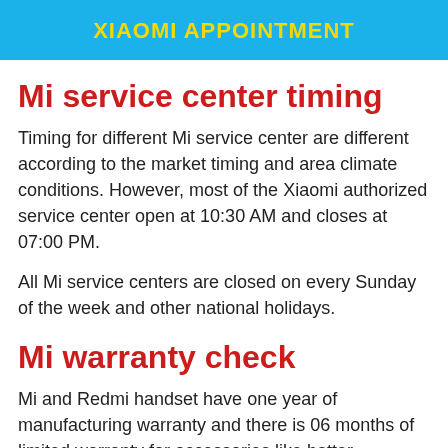XIAOMI APPOINTMENT
Mi service center timing
Timing for different Mi service center are different according to the market timing and area climate conditions. However, most of the Xiaomi authorized service center open at 10:30 AM and closes at 07:00 PM.
All Mi service centers are closed on every Sunday of the week and other national holidays.
Mi warranty check
Mi and Redmi handset have one year of manufacturing warranty and there is 06 months of limited warranty for accessories like battery.